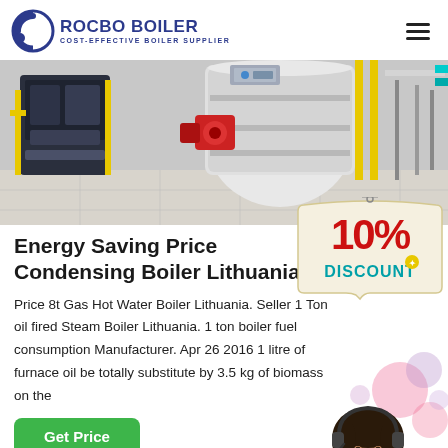[Figure (logo): Rocbo Boiler logo — circular C-shape icon in blue with text ROCBO BOILER / COST-EFFECTIVE BOILER SUPPLIER]
[Figure (photo): Industrial boiler room showing large cylindrical boilers, pipes, and equipment in a factory setting]
Energy Saving Price Condensing Boiler Lithuania
Price 8t Gas Hot Water Boiler Lithuania. Seller 1 Ton oil fired Steam Boiler Lithuania. 1 ton boiler fuel consumption Manufacturer. Apr 26 2016 1 litre of furnace oil be totally substitute by 3.5 kg of biomass on the
[Figure (infographic): 10% DISCOUNT promotional badge with red and teal text on cream tag background]
[Figure (photo): Customer service representative woman wearing headset, smiling, with decorative pink bubbles]
[Figure (other): Green Get Price button]